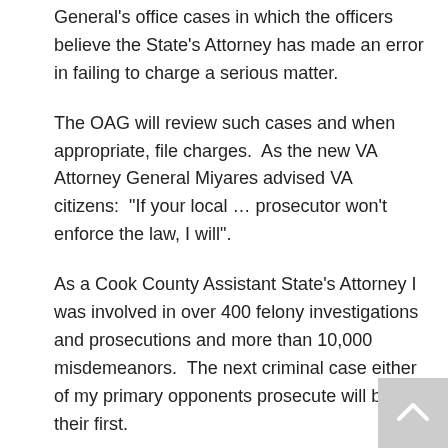General's office cases in which the officers believe the State's Attorney has made an error in failing to charge a serious matter.
The OAG will review such cases and when appropriate, file charges.  As the new VA Attorney General Miyares advised VA citizens:  "If your local … prosecutor won't enforce the law, I will".
As a Cook County Assistant State's Attorney I was involved in over 400 felony investigations and prosecutions and more than 10,000 misdemeanors.  The next criminal case either of my primary opponents prosecute will be their first.
At least 19 states have passed laws restricting access to voting. Many other states have introduced similar legislation. Do you believe such laws help or hinder the electoral process? Please explain your answer.